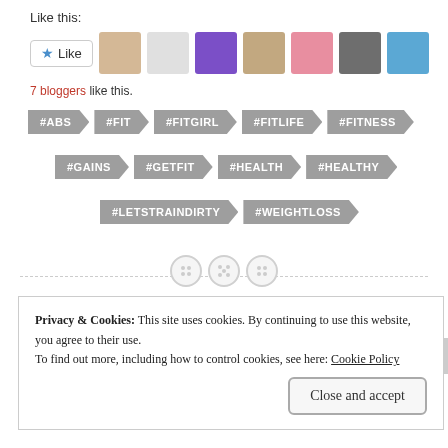Like this:
[Figure (screenshot): Like button with star icon and 7 blogger avatars]
7 bloggers like this.
#ABS
#FIT
#FITGIRL
#FITLIFE
#FITNESS
#GAINS
#GETFIT
#HEALTH
#HEALTHY
#LETSTRAINDIRTY
#WEIGHTLOSS
Privacy & Cookies: This site uses cookies. By continuing to use this website, you agree to their use.
To find out more, including how to control cookies, see here: Cookie Policy
Close and accept